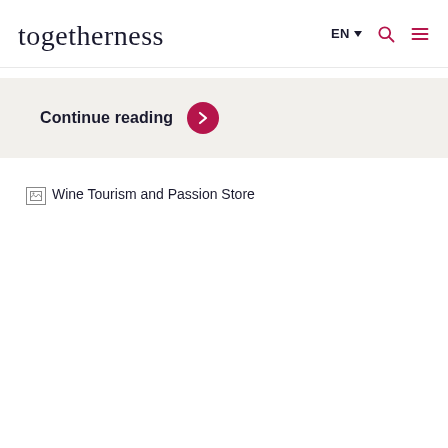togetherness — EN navigation with search and menu icons
Continue reading
[Figure (photo): Broken image placeholder for Wine Tourism and Passion Store]